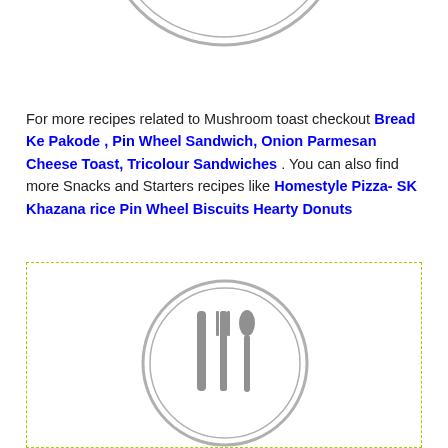[Figure (illustration): Circular plate icon with knife, fork and spoon silhouettes in grey, partially cropped at top of page]
For more recipes related to Mushroom toast checkout Bread Ke Pakode , Pin Wheel Sandwich, Onion Parmesan Cheese Toast, Tricolour Sandwiches . You can also find more Snacks and Starters recipes like Homestyle Pizza- SK Khazana rice Pin Wheel Biscuits Hearty Donuts
[Figure (illustration): Circular plate icon with knife, fork and spoon silhouettes in grey, inside a dashed yellow-green border box]